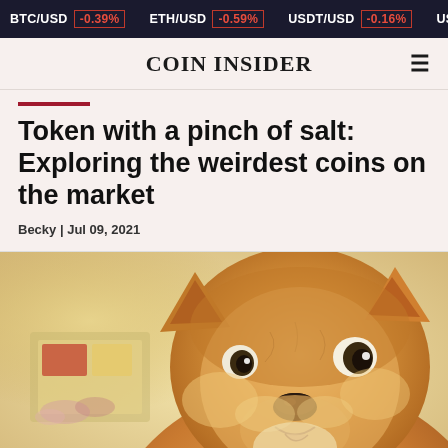BTC/USD -0.39% | ETH/USD -0.59% | USDT/USD -0.16% | USDC/U...
COIN INSIDER
Token with a pinch of salt: Exploring the weirdest coins on the market
Becky | Jul 09, 2021
[Figure (photo): Close-up photo of a Shiba Inu dog (the Doge meme dog) looking sideways at the camera with a blurred background featuring yellow and warm tones.]